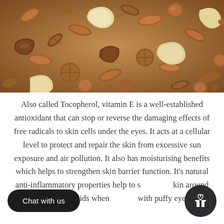[Figure (photo): Close-up photograph of a mixed assortment of nuts including almonds, cashews, pecans, Brazil nuts, walnuts, and hazelnuts, filling the entire frame.]
Also called Tocopherol, vitamin E is a well-established antioxidant that can stop or reverse the damaging effects of free radicals to skin cells under the eyes. It acts at a cellular level to protect and repair the skin from excessive sun exposure and air pollution. It also has moisturising benefits which helps to strengthen skin barrier function. It's natural anti-inflammatory properties help to soothe the skin around the lower eyelids when dealing with puffy eyes.